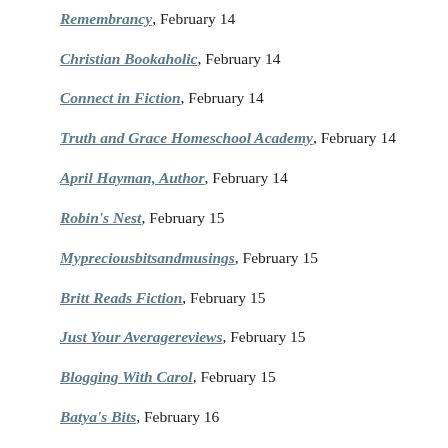SurpeDiem, February 13
Remembrancy, February 14
Christian Bookaholic, February 14
Connect in Fiction, February 14
Truth and Grace Homeschool Academy, February 14
April Hayman, Author, February 14
Robin's Nest, February 15
Mypreciousbitsandmusings, February 15
Britt Reads Fiction, February 15
Just Your Averagereviews, February 15
Blogging With Carol, February 15
Batya's Bits, February 16
Bigreadersite, February 16